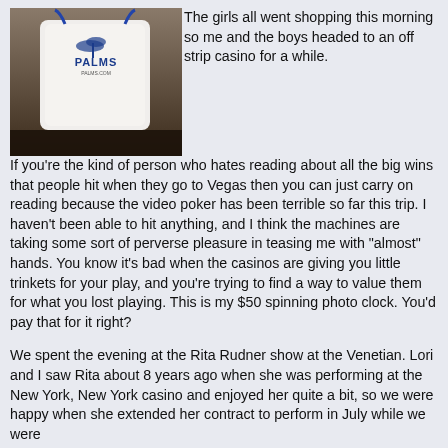[Figure (photo): A white Palms casino branded item (appears to be a bag or container) with the Palms logo visible, photographed indoors.]
The girls all went shopping this morning so me and the boys headed to an off strip casino for a while. If you're the kind of person who hates reading about all the big wins that people hit when they go to Vegas then you can just carry on reading because the video poker has been terrible so far this trip. I haven't been able to hit anything, and I think the machines are taking some sort of perverse pleasure in teasing me with "almost" hands. You know it's bad when the casinos are giving you little trinkets for your play, and you're trying to find a way to value them for what you lost playing. This is my $50 spinning photo clock. You'd pay that for it right?
We spent the evening at the Rita Rudner show at the Venetian. Lori and I saw Rita about 8 years ago when she was performing at the New York, New York casino and enjoyed her quite a bit, so we were happy when she extended her contract to perform in July while we were